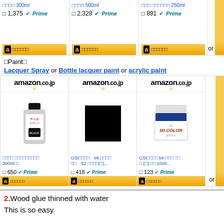[Figure (screenshot): Amazon.co.jp product listings row - top row showing 3 products with prices ¥1,375, ¥2,328, ¥891 with Prime badges and buy buttons]
【Paint】
Lacquer Spray or Bottle lacquer paint or acrylic paint
[Figure (screenshot): Amazon.co.jp product listings - lacquer spray 300ml ¥650, GSI Mr. lacquer S2 ¥418, GSI Mr.Color jar 10ml ¥123, all with Prime badges]
2.Wood glue thinned with water
This is so easy.